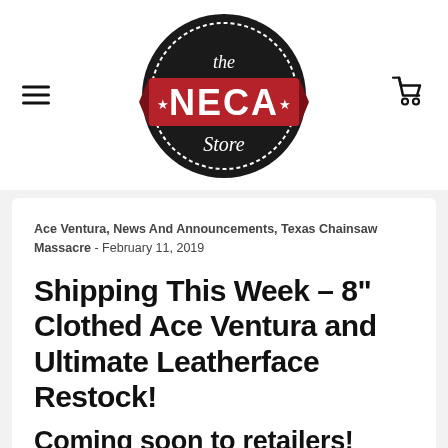[Figure (logo): The NECA Store logo: a circular dark badge with 'the' in script at top, 'NECA' in bold white letters on a red ribbon banner with stars, and 'Store' in script below]
Ace Ventura, News And Announcements, Texas Chainsaw Massacre - February 11, 2019
Shipping This Week – 8" Clothed Ace Ventura and Ultimate Leatherface Restock!
Coming soon to retailers!